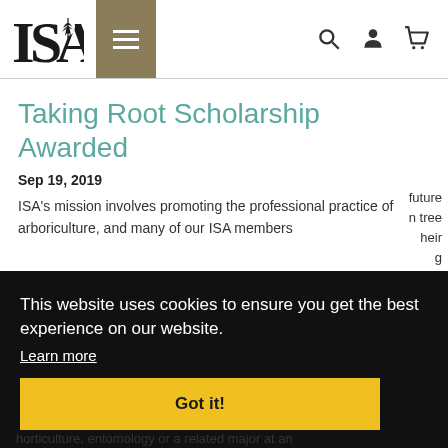ISA [logo] — navigation header with menu, search, account, and cart icons
Taking Root Scholarship Awarded
Sep 19, 2019
ISA's mission involves promoting the professional practice of arboriculture, and many of our ISA members [obscured] future [obscured] tree [obscured] their [obscured]
This website uses cookies to ensure you get the best experience on our website. Learn more
Got it!
horticulture, entomology or a related major at an